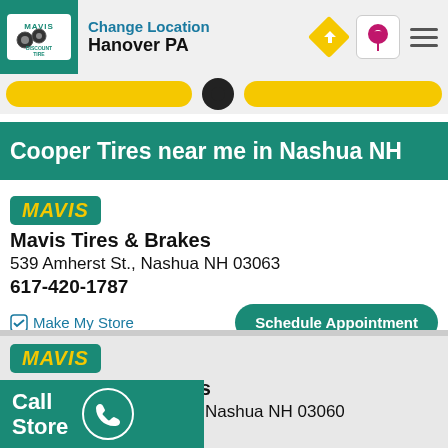Change Location Hanover PA
Cooper Tires near me in Nashua NH
[Figure (logo): Mavis Discount Tire logo badge - teal/green background with MAVIS in yellow italic text]
Mavis Tires & Brakes
539 Amherst St., Nashua NH 03063
617-420-1787
Make My Store
Schedule Appointment
[Figure (logo): Mavis logo badge - teal/green background with MAVIS in yellow italic text]
Mavis Tires & Brakes
298 Daniel Webster Hwy, Nashua NH 03060
617-420-3315
Schedule Appointment
Call Store